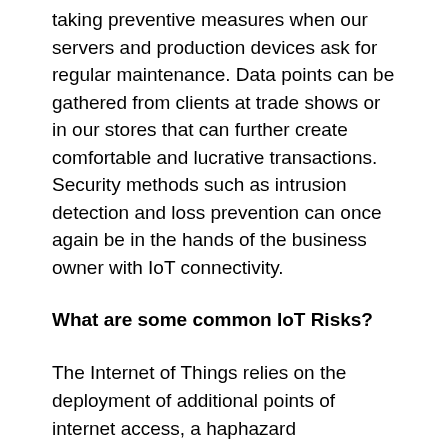taking preventive measures when our servers and production devices ask for regular maintenance. Data points can be gathered from clients at trade shows or in our stores that can further create comfortable and lucrative transactions. Security methods such as intrusion detection and loss prevention can once again be in the hands of the business owner with IoT connectivity.
What are some common IoT Risks?
The Internet of Things relies on the deployment of additional points of internet access, a haphazard deployment of IoT-enabled devices in a workplace can result in easily-missed holes in the digital security fence of your workplace. Password protection and shoddy firmware can